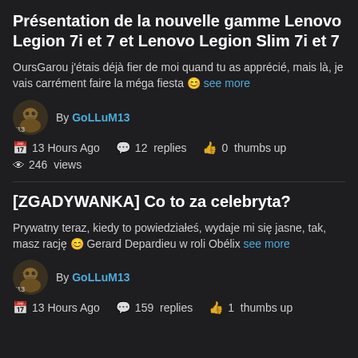Présentation de la nouvelle gamme Lenovo Legion 7i et 7 et Lenovo Legion Slim 7i et 7
OursGarou j'étais déjà fier de moi quand tu as apprécié, mais là, je vais carrément faire la méga fiesta 😊 see more
By GoLLuM13
13 Hours Ago  12 replies  0 thumbs up  246 views
[ZGADYWANKA] Co to za celebryta?
Prywatny teraz, kiedy to powiedziałeś, wydaje mi się jasne, tak, masz rację 😊 Gerard Depardieu w roli Obélix see more
By GoLLuM13
13 Hours Ago  159 replies  1 thumbs up